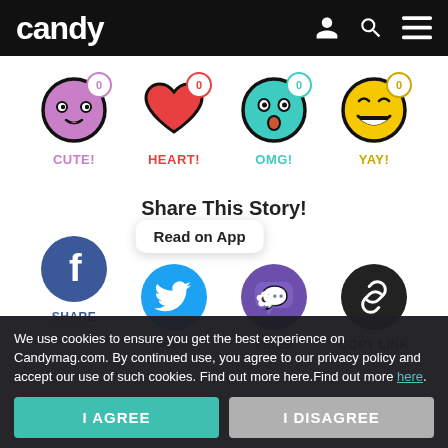candy
[Figure (illustration): Four reaction icons with zero badges: CUTE! (purple face emoji with counter 0), HEART! (red heart with counter 0), OMG! (teal shocked face emoji with counter 0), YAY! (yellow happy face emoji with counter 0)]
Share This Story!
[Figure (infographic): Four social sharing icons: Facebook (SHARE), Twitter (TWEET), Viber (VIBER), and a chain link (COPY LINK). A 'Read on App' tooltip bubble appears above the Twitter/Viber area.]
We use cookies to ensure you get the best experience on Candymag.com. By continued use, you agree to our privacy policy and accept our use of such cookies. Find out more here.Find out more here.